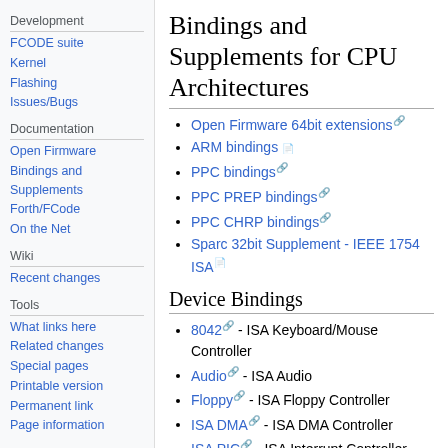Development
FCODE suite
Kernel
Flashing
Issues/Bugs
Documentation
Open Firmware
Bindings and Supplements
Forth/FCode
On the Net
Wiki
Recent changes
Tools
What links here
Related changes
Special pages
Printable version
Permanent link
Page information
Bindings and Supplements for CPU Architectures
Open Firmware 64bit extensions
ARM bindings
PPC bindings
PPC PREP bindings
PPC CHRP bindings
Sparc 32bit Supplement - IEEE 1754 ISA
Device Bindings
8042 - ISA Keyboard/Mouse Controller
Audio - ISA Audio
Floppy - ISA Floppy Controller
ISA DMA - ISA DMA Controller
ISA PIC - ISA Interrupt Controller
Linear Framebuffer